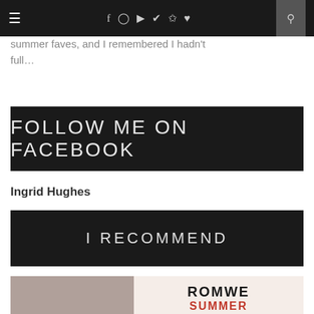Navigation bar with hamburger menu, social icons (Facebook, Instagram, YouTube, Twitter, Pinterest, heart), and search button
summer faves, and I remembered I hadn't full…
[Figure (other): Dark banner button with text FOLLOW ME ON FACEBOOK in light letters]
Ingrid Hughes
[Figure (other): Dark banner button with text I RECOMMEND in light letters]
[Figure (other): Partial advertisement image showing a woman on the left and ROMWE SUMMER text on the right on a light peach background]